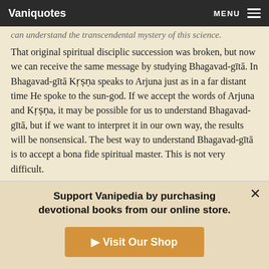Vaniquotes | MENU
can understand the transcendental mystery of this science.
That original spiritual disciplic succession was broken, but now we can receive the same message by studying Bhagavad-gītā. In Bhagavad-gītā Kṛṣṇa speaks to Arjuna just as in a far distant time He spoke to the sun-god. If we accept the words of Arjuna and Kṛṣṇa, it may be possible for us to understand Bhagavad-gītā, but if we want to interpret it in our own way, the results will be nonsensical. The best way to understand Bhagavad-gītā is to accept a bona fide spiritual master. This is not very difficult.
Arjuna says that he accepts all that Kṛṣṇa has said to him because Krsna is the Supreme Personality of Godhead (BG
Support Vanipedia by purchasing devotional books from our online store.
Visit Our Shop